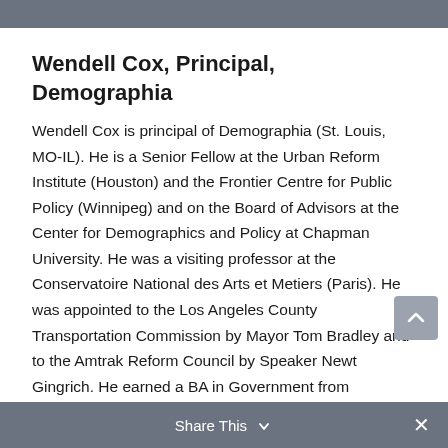Wendell Cox, Principal, Demographia
Wendell Cox is principal of Demographia (St. Louis, MO-IL). He is a Senior Fellow at the Urban Reform Institute (Houston) and the Frontier Centre for Public Policy (Winnipeg) and on the Board of Advisors at the Center for Demographics and Policy at Chapman University. He was a visiting professor at the Conservatoire National des Arts et Metiers (Paris). He was appointed to the Los Angeles County Transportation Commission by Mayor Tom Bradley and to the Amtrak Reform Council by Speaker Newt Gingrich. He earned a BA in Government from California State University, Los Angeles and an MBA from Pepperdine Universite.
Share This